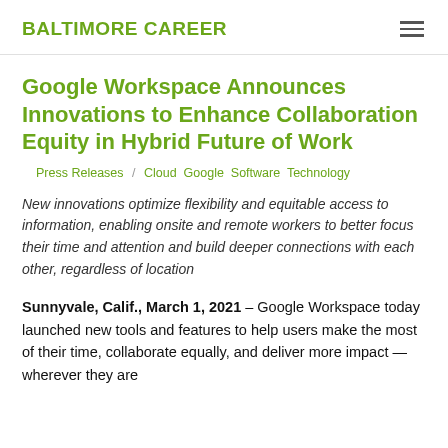BALTIMORE CAREER
Google Workspace Announces Innovations to Enhance Collaboration Equity in Hybrid Future of Work
Press Releases / Cloud  Google  Software  Technology
New innovations optimize flexibility and equitable access to information, enabling onsite and remote workers to better focus their time and attention and build deeper connections with each other, regardless of location
Sunnyvale, Calif., March 1, 2021 – Google Workspace today launched new tools and features to help users make the most of their time, collaborate equally, and deliver more impact — wherever they are